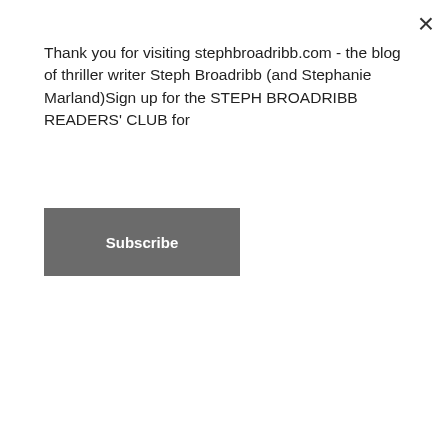Thank you for visiting stephbroadribb.com - the blog of thriller writer Steph Broadribb (and Stephanie Marland)Sign up for the STEPH BROADRIBB READERS' CLUB for
Subscribe
[Figure (illustration): Book promotional banner with dark red/crimson sky background showing titles 'THE DARKEST HEART' and 'RED WINTER' in large distressed lettering, with a blog tour schedule listing dates and events in red and white text on dark background]